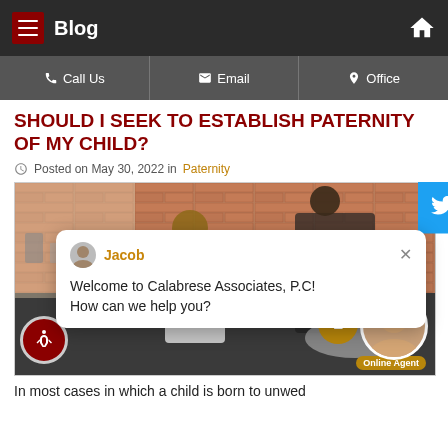Blog
Call Us | Email | Office
SHOULD I SEEK TO ESTABLISH PATERNITY OF MY CHILD?
Posted on May 30, 2022 in Paternity
[Figure (photo): Kitchen scene with two people cooking, overlaid with a chat popup from Jacob saying 'Welcome to Calabrese Associates, P.C! How can we help you?' and a Twitter share button, notification bubble with '1', online agent photo, and accessibility icon.]
In most cases in which a child is born to unwed